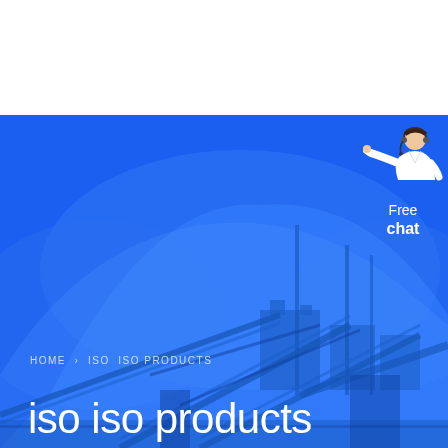[Figure (photo): Industrial mining or quarrying facility with large piles of crushed rock/aggregate materials and conveyor belt structures, rendered with a blue overlay tint. Top portion of page is white.]
HOME  >  ISO  ISO PRODUCTS
iso iso products
[Figure (illustration): Customer service representative / chat agent figure in white outfit, pointing, with text 'Free chat' below]
Free chat